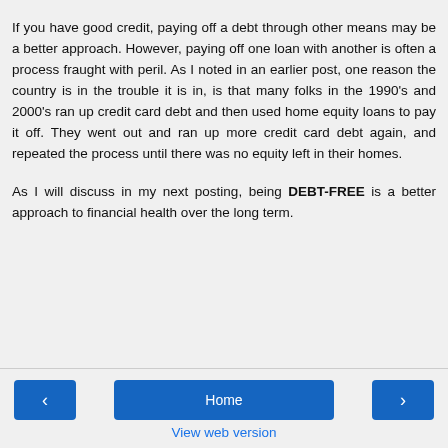If you have good credit, paying off a debt through other means may be a better approach. However, paying off one loan with another is often a process fraught with peril. As I noted in an earlier post, one reason the country is in the trouble it is in, is that many folks in the 1990's and 2000's ran up credit card debt and then used home equity loans to pay it off. They went out and ran up more credit card debt again, and repeated the process until there was no equity left in their homes.

As I will discuss in my next posting, being DEBT-FREE is a better approach to financial health over the long term.
‹  Home  ›  View web version